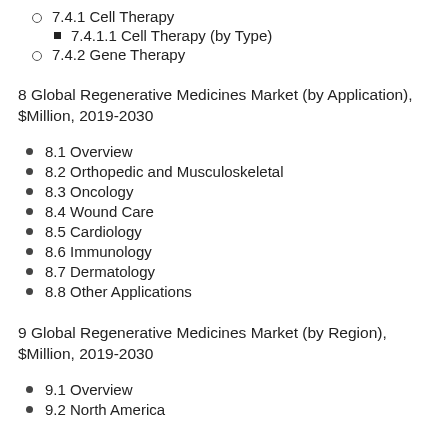7.4.1 Cell Therapy
7.4.1.1 Cell Therapy (by Type)
7.4.2 Gene Therapy
8 Global Regenerative Medicines Market (by Application), $Million, 2019-2030
8.1 Overview
8.2 Orthopedic and Musculoskeletal
8.3 Oncology
8.4 Wound Care
8.5 Cardiology
8.6 Immunology
8.7 Dermatology
8.8 Other Applications
9 Global Regenerative Medicines Market (by Region), $Million, 2019-2030
9.1 Overview
9.2 North America